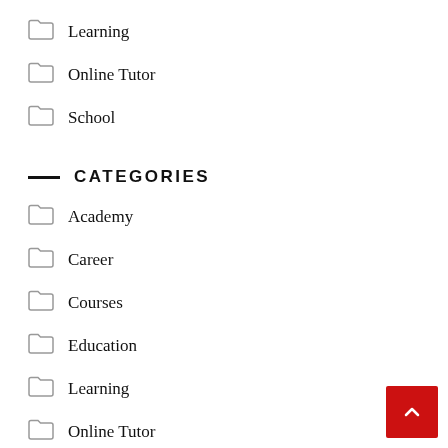Learning
Online Tutor
School
CATEGORIES
Academy
Career
Courses
Education
Learning
Online Tutor